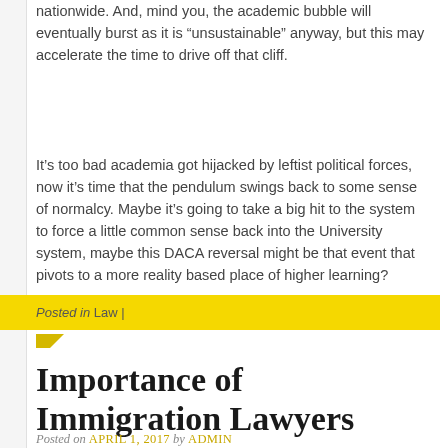nationwide. And, mind you, the academic bubble will eventually burst as it is “unsustainable” anyway, but this may accelerate the time to drive off that cliff.
It’s too bad academia got hijacked by leftist political forces, now it’s time that the pendulum swings back to some sense of normalcy. Maybe it’s going to take a big hit to the system to force a little common sense back into the University system, maybe this DACA reversal might be that event that pivots to a more reality based place of higher learning?
Posted in Law |
Importance of Immigration Lawyers
Posted on APRIL 1, 2017 by ADMIN